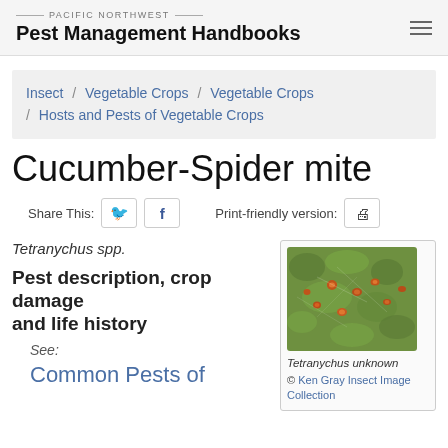PACIFIC NORTHWEST — Pest Management Handbooks
Insect / Vegetable Crops / Vegetable Crops / Hosts and Pests of Vegetable Crops
Cucumber-Spider mite
Share This: [twitter] [facebook]   Print-friendly version: [print]
Tetranychus spp.
Pest description, crop damage and life history
See:
Common Pests of
[Figure (photo): Close-up photo of Tetranychus (spider mites) on a plant surface showing orange-red mites among green webbing]
Tetranychus unknown
© Ken Gray Insect Image Collection